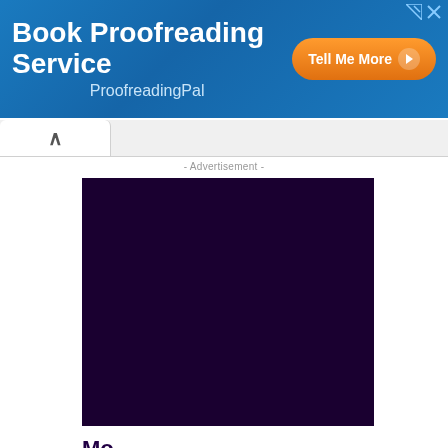[Figure (screenshot): Book Proofreading Service advertisement banner with blue gradient background, white bold text 'Book Proofreading Service', subtitle 'ProofreadingPal', and orange 'Tell Me More' button with play arrow icon.]
- Advertisement -
[Figure (other): Dark purple/maroon solid color advertisement block placeholder.]
Mo...